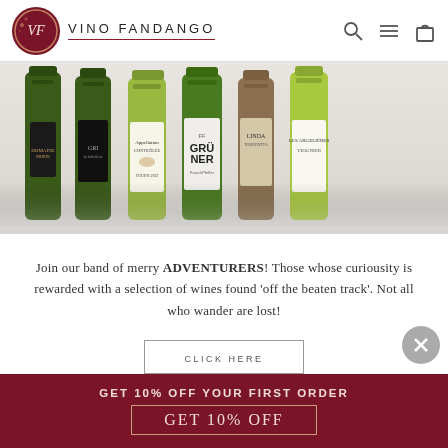VINO FANDANGO
[Figure (photo): Six wine bottles (white/green) displayed in a row against a light grey background]
Join our band of merry ADVENTURERS! Those whose curiousity is rewarded with a selection of wines found 'off the beaten track'. Not all who wander are lost!
CLICK HERE
GET 10% OFF YOUR FIRST ORDER
GET 10% OFF